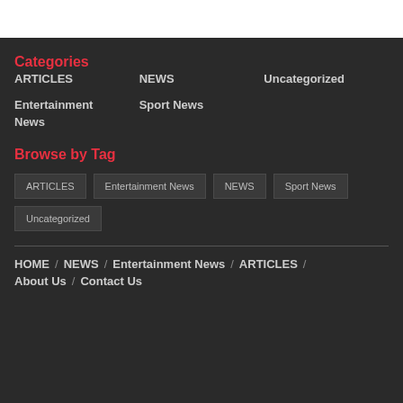Categories
ARTICLES
NEWS
Uncategorized
Entertainment News
Sport News
Browse by Tag
ARTICLES
Entertainment News
NEWS
Sport News
Uncategorized
HOME / NEWS / Entertainment News / ARTICLES / About Us / Contact Us